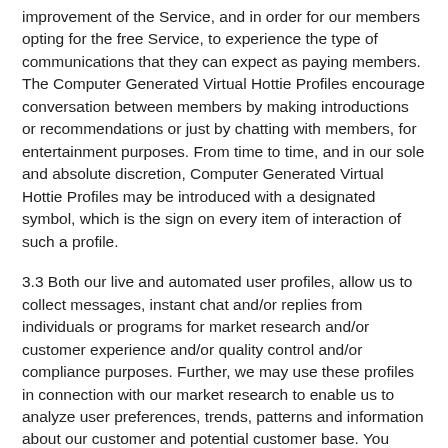improvement of the Service, and in order for our members opting for the free Service, to experience the type of communications that they can expect as paying members. The Computer Generated Virtual Hottie Profiles encourage conversation between members by making introductions or recommendations or just by chatting with members, for entertainment purposes. From time to time, and in our sole and absolute discretion, Computer Generated Virtual Hottie Profiles may be introduced with a designated symbol, which is the sign on every item of interaction of such a profile.
3.3 Both our live and automated user profiles, allow us to collect messages, instant chat and/or replies from individuals or programs for market research and/or customer experience and/or quality control and/or compliance purposes. Further, we may use these profiles in connection with our market research to enable us to analyze user preferences, trends, patterns and information about our customer and potential customer base. You acknowledge and agree that some of the profiles posted on the website that you may communicate with as a member may be fictitious. The purpose of our creating these profiles is to provide our members with entertainment, to allow members to explore our Service and to promote greater participation in our Service. The messages they send are computer generated. Messages from the user profiles we create attempt to simulate communications so that should you become a paid member you are encouraged to participate in more conversation and to increase interaction among fellow paid members. We also use such profiles to monitor user communications and use of our Service to measure compliance with